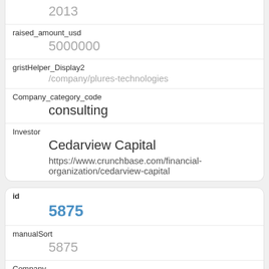2013
raised_amount_usd
5000000
gristHelper_Display2
/company/plures-technologies
Company_category_code
consulting
Investor
Cedarview Capital
https://www.crunchbase.com/financial-organization/cedarview-capital
id
5875
manualSort
5875
Company
1091
investor_permalink
/person/yuri-milner